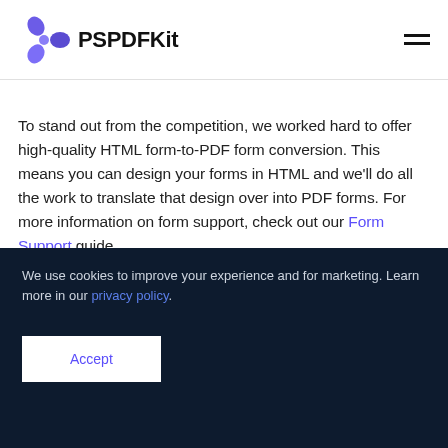PSPDFKit
To stand out from the competition, we worked hard to offer high-quality HTML form-to-PDF form conversion. This means you can design your forms in HTML and we'll do all the work to translate that design over into PDF forms. For more information on form support, check out our Form Support guide.
[Figure (screenshot): Cookie consent overlay on dark navy background with Accept button, shown over a partially visible UI screenshot]
We use cookies to improve your experience and for marketing. Learn more in our privacy policy.
Accept